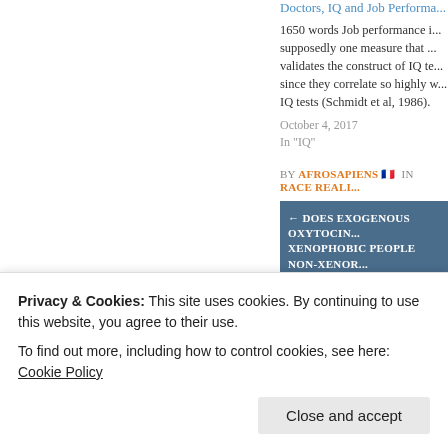Doctors, IQ and Job Performance
1650 words Job performance is supposedly one measure that validates the construct of IQ tests since they correlate so highly with IQ tests (Schmidt et al, 1986).
October 4, 2017
In "IQ"
BY AFROSAPIENS [flag] IN RACE REALI...
← DOES EXOGENOUS OXYTOCIN... XENOPHOBIC PEOPLE NON-XENOR...
411 Comments
Privacy & Cookies: This site uses cookies. By continuing to use this website, you agree to their use.
To find out more, including how to control cookies, see here: Cookie Policy
Close and accept